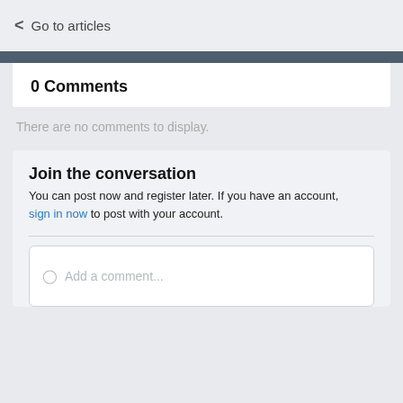< Go to articles
0 Comments
There are no comments to display.
Join the conversation
You can post now and register later. If you have an account, sign in now to post with your account.
Add a comment...